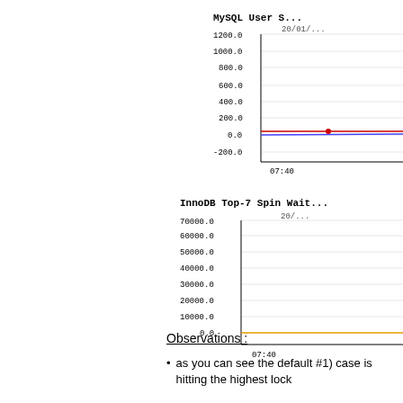[Figure (continuous-plot): MySQL User Statistics line chart, y-axis from -200.0 to 1200.0, x-axis shows 07:40. A red line near 0 and a blue line near 0. Date label 20/01/... visible.]
[Figure (continuous-plot): InnoDB Top-7 Spin Waits line chart, y-axis from 0.0 to 70000.0, x-axis shows 07:40. An orange/yellow line near 0. Date label 20/... visible.]
Observations :
as you can see the default #1) case is hitting the highest lock